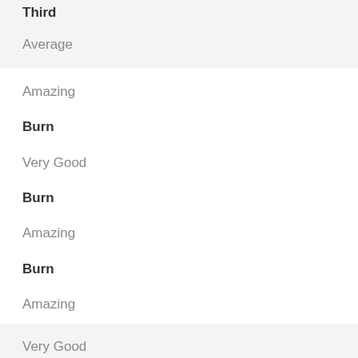Third
Average
Amazing
Burn
Very Good
Burn
Amazing
Burn
Amazing
Very Good